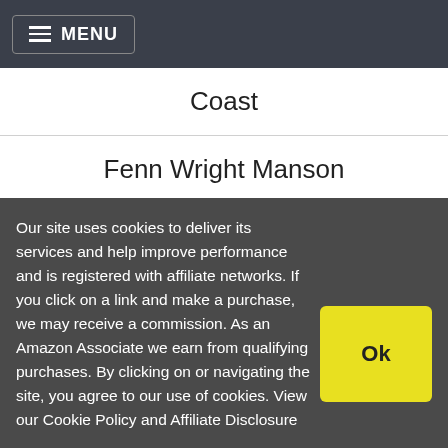MENU
Coast
Fenn Wright Manson
Gina Bacconi
Helen McAlinden
Our site uses cookies to deliver its services and help improve performance and is registered with affiliate networks. If you click on a link and make a purchase, we may receive a commission. As an Amazon Associate we earn from qualifying purchases. By clicking on or navigating the site, you agree to our use of cookies. View our Cookie Policy and Affiliate Disclosure